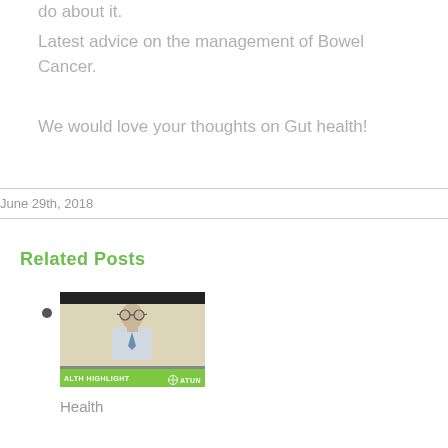do about it.
Latest advice on the management of Bowel Cancer.
We would love your thoughts on Gut health!
June 29th, 2018
Related Posts
[Figure (photo): Thumbnail image of a person in a video with green banner reading 'ALTH HIGHLIGHT' and 'ATUM' logo]
Health